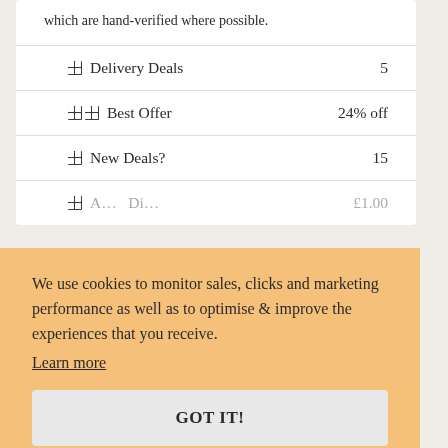which are hand-verified where possible.
| Category | Value |
| --- | --- |
| Delivery Deals | 5 |
| Best Offer | 24% off |
| New Deals? | 15 |
| Average Discount | £1.00 |
We use cookies to monitor sales, clicks and marketing performance as well as to optimise & improve the experiences that you receive.
Learn more
GOT IT!